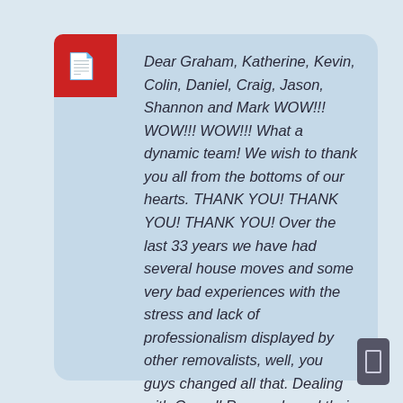Dear Graham, Katherine, Kevin, Colin, Daniel, Craig, Jason, Shannon and Mark WOW!!! WOW!!! WOW!!! What a dynamic team! We wish to thank you all from the bottoms of our hearts. THANK YOU! THANK YOU! THANK YOU! Over the last 33 years we have had several house moves and some very bad experiences with the stress and lack of professionalism displayed by other removalists, well, you guys changed all that. Dealing with Carnall Removals and their great team was a total pleasure from start to finish. We placed a massive task in your hands, pick up from 3 different Sydney locations and delivery to Brandy Hill, and you totally exceeded